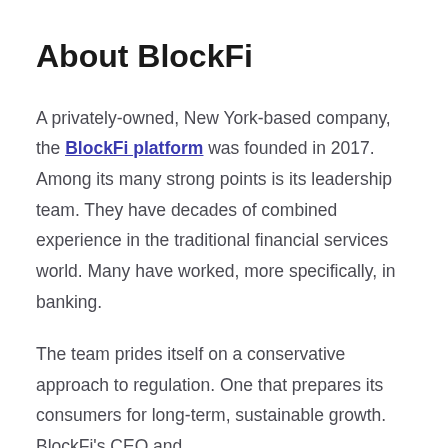About BlockFi
A privately-owned, New York-based company, the BlockFi platform was founded in 2017. Among its many strong points is its leadership team. They have decades of combined experience in the traditional financial services world. Many have worked, more specifically, in banking.
The team prides itself on a conservative approach to regulation. One that prepares its consumers for long-term, sustainable growth. BlockFi's CEO and